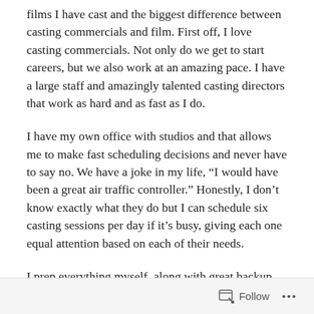films I have cast and the biggest difference between casting commercials and film. First off, I love casting commercials. Not only do we get to start careers, but we also work at an amazing pace. I have a large staff and amazingly talented casting directors that work as hard and as fast as I do.
I have my own office with studios and that allows me to make fast scheduling decisions and never have to say no. We have a joke in my life, “I would have been a great air traffic controller.” Honestly, I don’t know exactly what they do but I can schedule six casting sessions per day if it’s busy, giving each one equal attention based on each of their needs.
I prep everything myself, along with great backup. For non-union, I rely heavily on Ashley, who is insanely diligent. We care about a great result on everything equally and even a job that seems easy is a challenge to me. Positive feedback is what we thrive on.
I find that, as I am casting many, many commercials a year, I
Follow ...